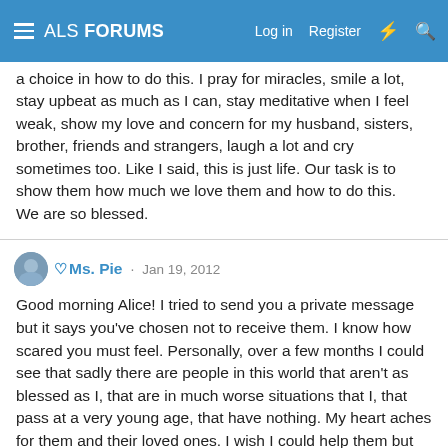ALS FORUMS  Log in  Register
a choice in how to do this. I pray for miracles, smile a lot, stay upbeat as much as I can, stay meditative when I feel weak, show my love and concern for my husband, sisters, brother, friends and strangers, laugh a lot and cry sometimes too. Like I said, this is just life. Our task is to show them how much we love them and how to do this.
We are so blessed.
Ms. Pie · Jan 19, 2012
Good morning Alice! I tried to send you a private message but it says you've chosen not to receive them. I know how scared you must feel. Personally, over a few months I could see that sadly there are people in this world that aren't as blessed as I, that are in much worse situations that I, that pass at a very young age, that have nothing. My heart aches for them and their loved ones. I wish I could help them but can't.
To be continued...